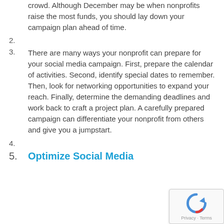crowd. Although December may be when nonprofits raise the most funds, you should lay down your campaign plan ahead of time.
2.
3. There are many ways your nonprofit can prepare for your social media campaign. First, prepare the calendar of activities. Second, identify special dates to remember. Then, look for networking opportunities to expand your reach. Finally, determine the demanding deadlines and work back to craft a project plan. A carefully prepared campaign can differentiate your nonprofit from others and give you a jumpstart.
4.
5. Optimize Social Media